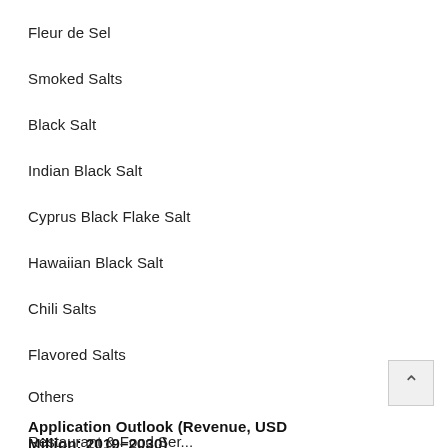Fleur de Sel
Smoked Salts
Black Salt
Indian Black Salt
Cyprus Black Flake Salt
Hawaiian Black Salt
Chili Salts
Flavored Salts
Others
Application Outlook (Revenue, USD Million; 2019–2030)
Restaurant & Food Service...